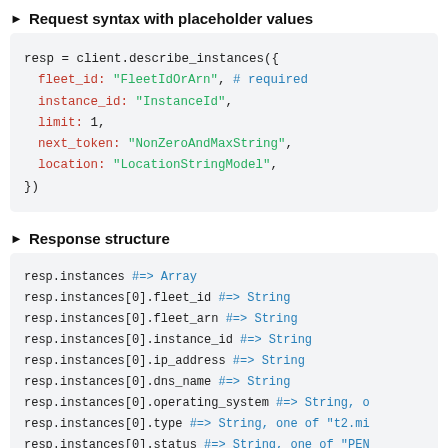▶ Request syntax with placeholder values
resp = client.describe_instances({
  fleet_id: "FleetIdOrArn", # required
  instance_id: "InstanceId",
  limit: 1,
  next_token: "NonZeroAndMaxString",
  location: "LocationStringModel",
})
▶ Response structure
resp.instances #=> Array
resp.instances[0].fleet_id #=> String
resp.instances[0].fleet_arn #=> String
resp.instances[0].instance_id #=> String
resp.instances[0].ip_address #=> String
resp.instances[0].dns_name #=> String
resp.instances[0].operating_system #=> String, o
resp.instances[0].type #=> String, one of "t2.mi
resp.instances[0].status #=> String, one of "PEN